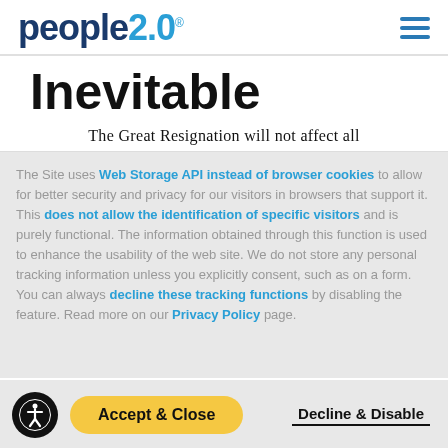People2.0 (logo) with hamburger menu
Inevitable
The Great Resignation will not affect all
The Site uses Web Storage API instead of browser cookies to allow for better security and privacy for our visitors in browsers that support it. This does not allow the identification of specific visitors and is purely functional. The information obtained through this function is used to enhance the usability of the web site. We do not store any personal tracking information unless you explicitly consent, such as on a form. You can always decline these tracking functions by disabling the feature. Read more on our Privacy Policy page.
Accept & Close | Decline & Disable